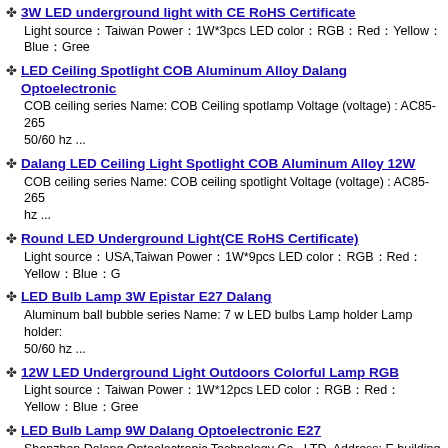3W LED underground light with CE RoHS Certificate
Light source：Taiwan Power：1W*3pcs LED color：RGB：Red：Yellow：Blue：Green…
LED Ceiling Spotlight COB Aluminum Alloy Dalang Optoelectronic
COB ceiling series Name: COB Ceiling spotlamp Voltage (voltage) : AC85-265 50/60 hz ...
Dalang LED Ceiling Light Spotlight COB Aluminum Alloy 12W
COB ceiling series Name: COB ceiling spotlight Voltage (voltage) : AC85-265 hz ...
Round LED Underground Light(CE RoHS Certificate)
Light source：USA,Taiwan Power：1W*9pcs LED color：RGB：Red：Yellow：Blue：G…
LED Bulb Lamp 3W Epistar E27 Dalang
Aluminum ball bubble series Name: 7 w LED bulbs Lamp holder Lamp holder: 50/60 hz ...
12W LED Underground Light Outdoors Colorful Lamp RGB
Light source：Taiwan Power：1W*12pcs LED color：RGB：Red：Yellow：Blue：Gree…
LED Bulb Lamp 9W Dalang Optoelectronic E27
Shenzhen Dalang Optoelectronic Technology Co., LTD. Address: E building , … street ...
3w Best Price Led Spotlight
Light Source: Taiwan Power: 1 W * 3 PCS LED Color: RGB color, red, yellow, Angle: 5 ...
5W High lumen led spotlight